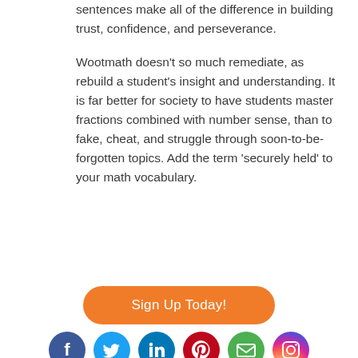sentences make all of the difference in building trust, confidence, and perseverance.

Wootmath doesn't so much remediate, as rebuild a student's insight and understanding. It is far better for society to have students master fractions combined with number sense, than to fake, cheat, and struggle through soon-to-be-forgotten topics. Add the term 'securely held' to your math vocabulary.
Sign Up Today!
[Figure (other): Row of six social media icons: Facebook (dark blue), Twitter (light blue), LinkedIn (teal/blue), Pinterest (red), Email (green), Instagram (gradient purple-orange)]